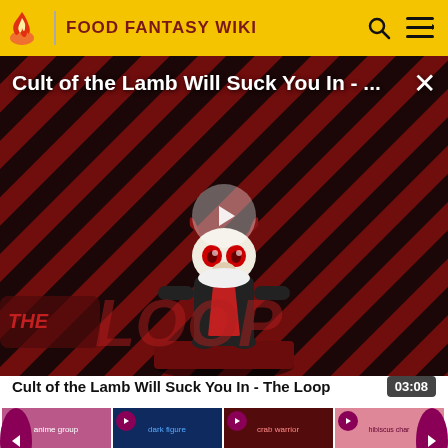FOOD FANTASY WIKI
[Figure (screenshot): Video thumbnail for 'Cult of the Lamb Will Suck You In - The Loop' showing a cartoon lamb character on a red and black diagonal striped background with 'THE LOOP' text overlay and a play button in the center]
Cult of the Lamb Will Suck You In - The Loop
03:08
[Figure (screenshot): Thumbnail: Food Souls]
[Figure (screenshot): Thumbnail: Haggis]
[Figure (screenshot): Thumbnail: King Crab]
[Figure (screenshot): Thumbnail: Hibiscus Tea]